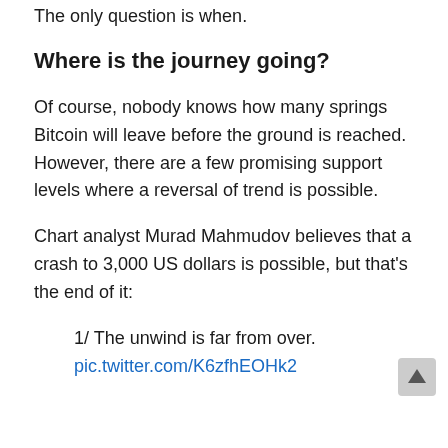The only question is when.
Where is the journey going?
Of course, nobody knows how many springs Bitcoin will leave before the ground is reached. However, there are a few promising support levels where a reversal of trend is possible.
Chart analyst Murad Mahmudov believes that a crash to 3,000 US dollars is possible, but that's the end of it:
1/ The unwind is far from over.
pic.twitter.com/K6zfhEOHk2